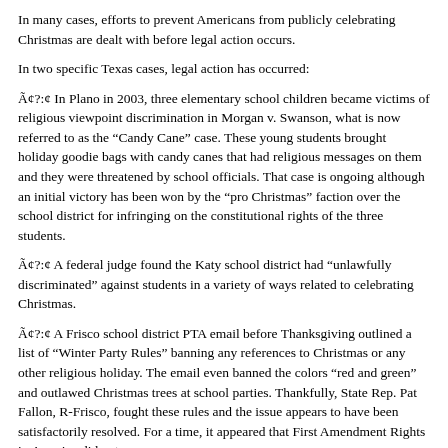In many cases, efforts to prevent Americans from publicly celebrating Christmas are dealt with before legal action occurs.
In two specific Texas cases, legal action has occurred:
Ã¢?:¢ In Plano in 2003, three elementary school children became victims of religious viewpoint discrimination in Morgan v. Swanson, what is now referred to as the “Candy Cane” case. These young students brought holiday goodie bags with candy canes that had religious messages on them and they were threatened by school officials. That case is ongoing although an initial victory has been won by the “pro Christmas” faction over the school district for infringing on the constitutional rights of the three students.
Ã¢?:¢ A federal judge found the Katy school district had “unlawfully discriminated” against students in a variety of ways related to celebrating Christmas.
Ã¢?:¢ A Frisco school district PTA email before Thanksgiving outlined a list of “Winter Party Rules” banning any references to Christmas or any other religious holiday. The email even banned the colors “red and green” and outlawed Christmas trees at school parties. Thankfully, State Rep. Pat Fallon, R-Frisco, fought these rules and the issue appears to have been satisfactorily resolved. For a time, it appeared that First Amendment Rights in America did not